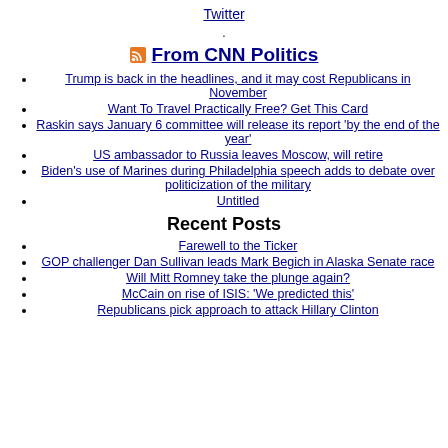Twitter
.
From CNN Politics
Trump is back in the headlines, and it may cost Republicans in November
Want To Travel Practically Free? Get This Card
Raskin says January 6 committee will release its report 'by the end of the year'
US ambassador to Russia leaves Moscow, will retire
Biden's use of Marines during Philadelphia speech adds to debate over politicization of the military
Untitled
Recent Posts
Farewell to the Ticker
GOP challenger Dan Sullivan leads Mark Begich in Alaska Senate race
Will Mitt Romney take the plunge again?
McCain on rise of ISIS: 'We predicted this'
Republicans pick approach to attack Hillary Clinton